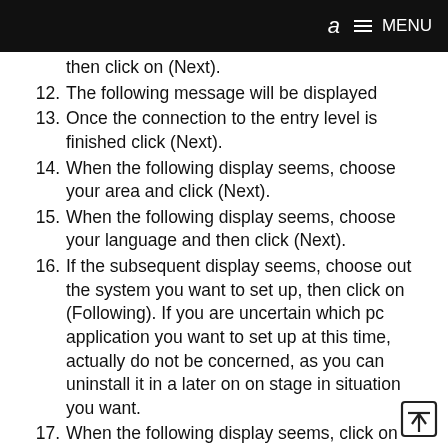a MENU
then click on (Next).
12. The following message will be displayed
13. Once the connection to the entry level is finished click (Next).
14. When the following display seems, choose your area and click (Next).
15. When the following display seems, choose your language and then click (Next).
16. If the subsequent display seems, choose out the system you want to set up, then click on (Following). If you are uncertain which pc application you want to set up at this time, actually do not be concerned, as you can uninstall it in a later on on stage in situation you want.
17. When the following display seems, click on (Yes)